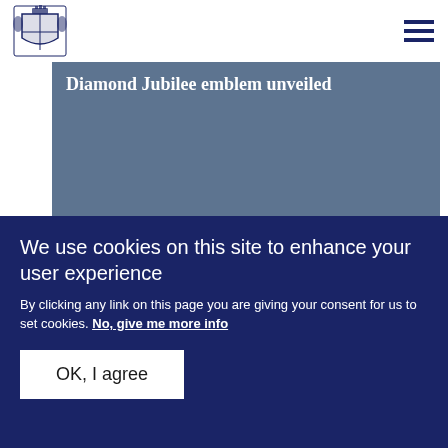[Figure (logo): Royal coat of arms logo, dark blue, top left corner]
[Figure (other): Hamburger menu icon, three horizontal dark blue lines, top right corner]
Diamond Jubilee emblem unveiled
Read more ▶
PRESS RELEASE    21 FEBRUARY 2011
The Duke of York appointed GCVO
We use cookies on this site to enhance your user experience
By clicking any link on this page you are giving your consent for us to set cookies. No, give me more info
OK, I agree